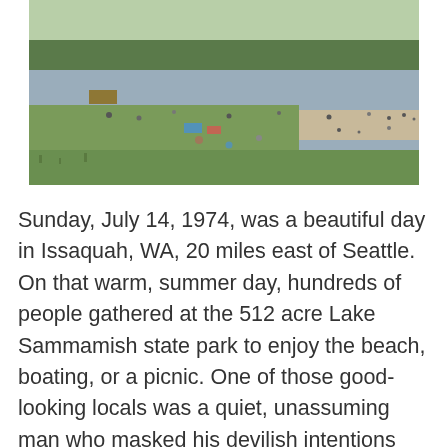[Figure (photo): Aerial or elevated view of Lake Sammamish State Park beach on a sunny day. Green grass in the foreground with people relaxing, beach chairs, and a sandy shoreline. Many people visible along the beach and in the water. Trees line the far shore.]
Sunday, July 14, 1974, was a beautiful day in Issaquah, WA, 20 miles east of Seattle. On that warm, summer day, hundreds of people gathered at the 512 acre Lake Sammamish state park to enjoy the beach, boating, or a picnic. One of those good-looking locals was a quiet, unassuming man who masked his devilish intentions behind a white tennis outfit and a cast around his arm. Witnesses said he introduced himself as “Ted.” Many of the young women who had been approached by him thought he affected a Canadian or a British accent. He was charming when he asked for help getting unhooking his boat from his tan VW Bug. Most of the young ladies refused for some reason...